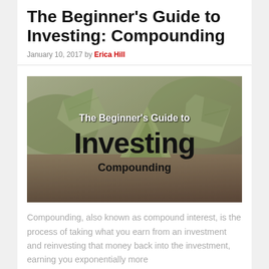The Beginner's Guide to Investing: Compounding
January 10, 2017 by Erica Hill
[Figure (photo): Photo of origami dollar bills on soil with overlaid text reading 'The Beginner's Guide to Investing Compounding']
Compounding, also known as compound interest, is the process of taking what you earn from an investment and reinvesting that money back into the investment, earning you exponentially more